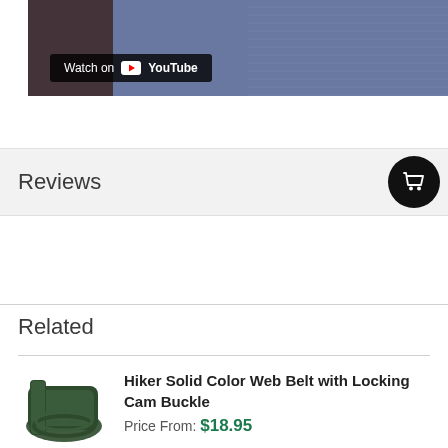[Figure (screenshot): YouTube video thumbnail with 'Watch on YouTube' badge overlay, dark blue/purple background]
Reviews
Related
[Figure (photo): Dark green Hiker Solid Color Web Belt rolled up]
Hiker Solid Color Web Belt with Locking Cam Buckle
Price From: $18.95